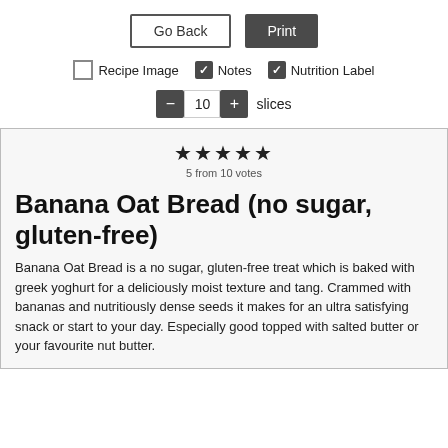Go Back | Print
Recipe Image (unchecked) | Notes (checked) | Nutrition Label (checked)
- 10 + slices
★★★★★
5 from 10 votes
Banana Oat Bread (no sugar, gluten-free)
Banana Oat Bread is a no sugar, gluten-free treat which is baked with greek yoghurt for a deliciously moist texture and tang. Crammed with bananas and nutritiously dense seeds it makes for an ultra satisfying snack or start to your day. Especially good topped with salted butter or your favourite nut butter.